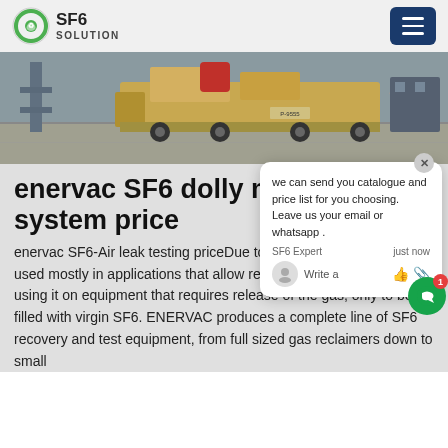SF6 SOLUTION
[Figure (photo): Photo of industrial truck/vehicle with equipment on a loading dock or industrial site]
enervac SF6 dolly mounted system price
enervac SF6-Air leak testing priceDue to the above reasons, SF6 is used mostly in applications that allow reclamation as opposed to using it on equipment that requires release of the gas, only to be re-filled with virgin SF6. ENERVAC produces a complete line of SF6 recovery and test equipment, from full sized gas reclaimers down to small